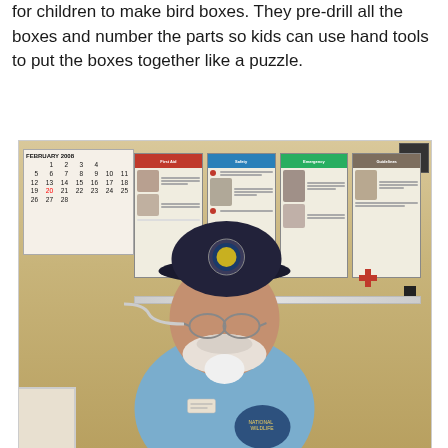for children to make bird boxes. They pre-drill all the boxes and number the parts so kids can use hand tools to put the boxes together like a puzzle.
[Figure (photo): A man wearing a dark baseball cap with a wildlife refuge emblem and a light blue denim shirt with a patch sits in a room. Behind him is a calendar on the left wall, several first aid/safety posters on the back wall, and a horizontal white marker rail. The man has glasses and a white beard.]